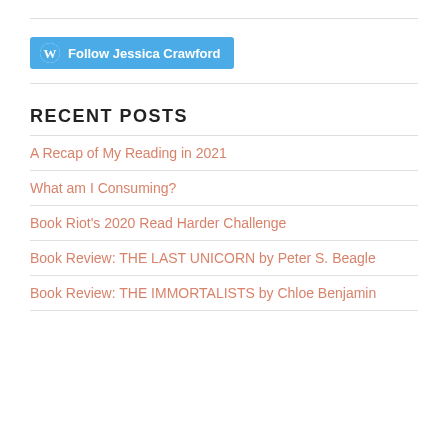[Figure (logo): WordPress Follow button: 'Follow Jessica Crawford' in teal/blue with WordPress logo]
RECENT POSTS
A Recap of My Reading in 2021
What am I Consuming?
Book Riot's 2020 Read Harder Challenge
Book Review: THE LAST UNICORN by Peter S. Beagle
Book Review: THE IMMORTALISTS by Chloe Benjamin